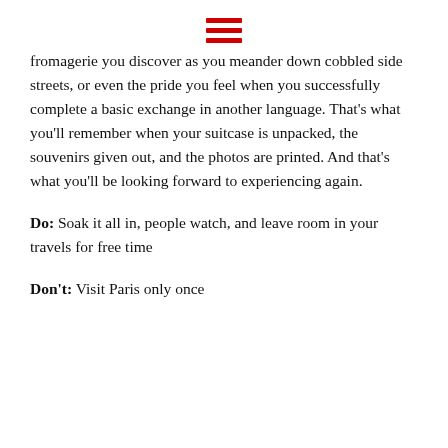[hamburger menu icon]
fromagerie you discover as you meander down cobbled side streets, or even the pride you feel when you successfully complete a basic exchange in another language. That's what you'll remember when your suitcase is unpacked, the souvenirs given out, and the photos are printed. And that's what you'll be looking forward to experiencing again.
Do: Soak it all in, people watch, and leave room in your travels for free time
Don't: Visit Paris only once